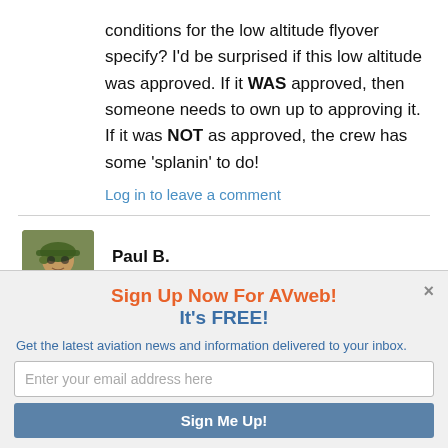conditions for the low altitude flyover specify? I'd be surprised if this low altitude was approved. If it WAS approved, then someone needs to own up to approving it. If it was NOT as approved, the crew has some 'splanin' to do!
Log in to leave a comment
Paul B.
December 10, 2021 At 3:40 pm
Sign Up Now For AVweb!
It's FREE!
Get the latest aviation news and information delivered to your inbox.
Enter your email address here
Sign Me Up!